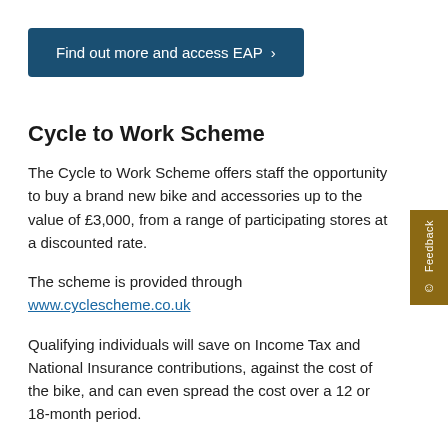Find out more and access EAP >
Cycle to Work Scheme
The Cycle to Work Scheme offers staff the opportunity to buy a brand new bike and accessories up to the value of £3,000, from a range of participating stores at a discounted rate.
The scheme is provided through www.cyclescheme.co.uk
Qualifying individuals will save on Income Tax and National Insurance contributions, against the cost of the bike, and can even spread the cost over a 12 or 18-month period.